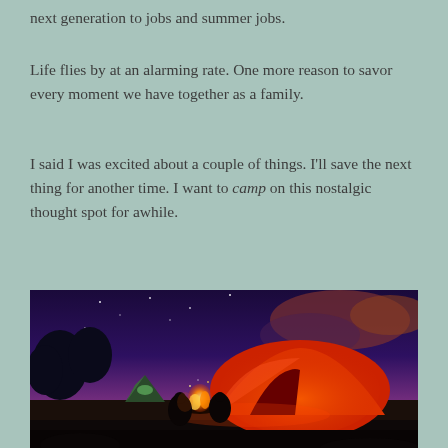next generation to jobs and summer jobs.
Life flies by at an alarming rate. One more reason to savor every moment we have together as a family.
I said I was excited about a couple of things. I'll save the next thing for another time. I want to camp on this nostalgic thought spot for awhile.
[Figure (photo): Night camping scene with people sitting around a campfire next to a glowing red tent under a purple and orange sky with stars.]